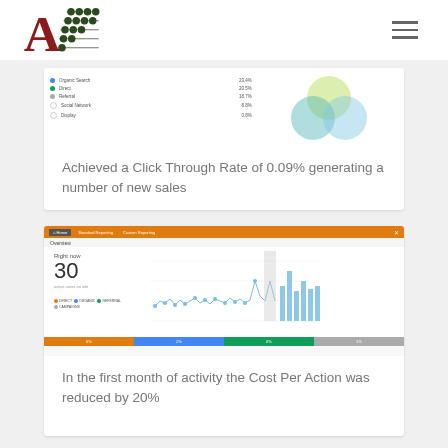[Figure (logo): Letter A with abacus beads logo]
[Figure (screenshot): Analytics traffic source table with venn diagram showing organic search, social, referral, direct, display channels with percentages]
Achieved a Click Through Rate of 0.09% generating a number of new sales
[Figure (screenshot): Real-time analytics dashboard showing 30 active users right now with bar/line chart and colored metrics footer]
In the first month of activity the Cost Per Action was reduced by 20%